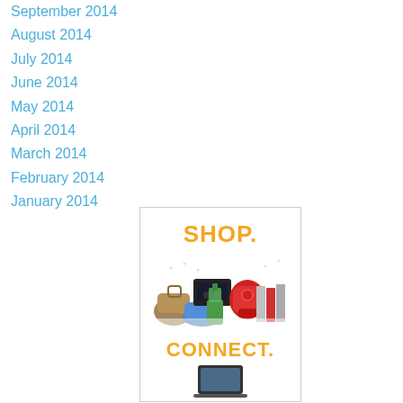September 2014
August 2014
July 2014
June 2014
May 2014
April 2014
March 2014
February 2014
January 2014
[Figure (illustration): Advertisement banner showing 'SHOP.' in orange text above product images (gaming console, stand mixer, bag, shoes, blender, books) and 'CONNECT.' in orange text below with a laptop/tablet device image]